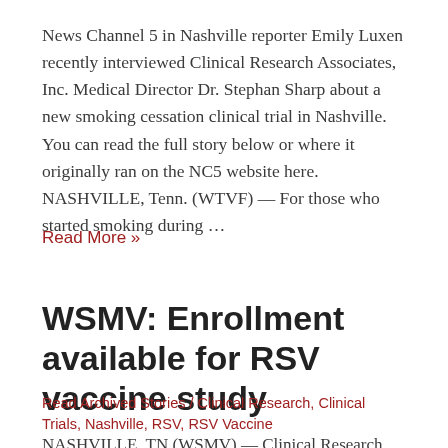News Channel 5 in Nashville reporter Emily Luxen recently interviewed Clinical Research Associates, Inc. Medical Director Dr. Stephan Sharp about a new smoking cessation clinical trial in Nashville. You can read the full story below or where it originally ran on the NC5 website here.  NASHVILLE, Tenn. (WTVF) — For those who started smoking during …
Read More »
WSMV: Enrollment available for RSV vaccine study
Read Archived Stories / Clinical Research, Clinical Trials, Nashville, RSV, RSV Vaccine
NASHVILLE, TN (WSMV) — Clinical Research Associates in